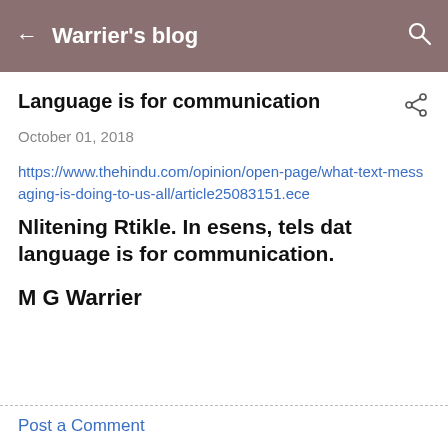Warrier's blog
Language is for communication
October 01, 2018
https://www.thehindu.com/opinion/open-page/what-text-messaging-is-doing-to-us-all/article25083151.ece
Nlitening Rtikle. In esens, tels dat language is for communication.
M G Warrier
Post a Comment